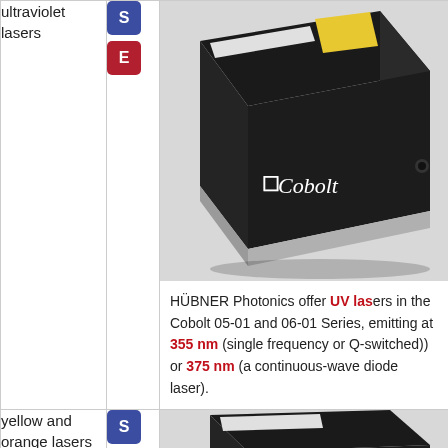| Product Type | Category | Description |
| --- | --- | --- |
| ultraviolet lasers | S / E | HÜBNER Photonics offer UV lasers in the Cobolt 05-01 and 06-01 Series, emitting at 355 nm (single frequency or Q-switched)) or 375 nm (a continuous-wave diode laser). |
| yellow and orange lasers | S / E |  |